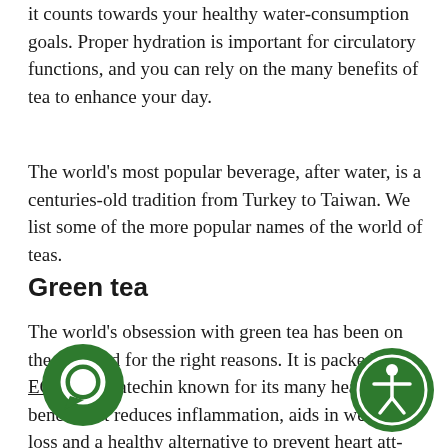it counts towards your healthy water-consumption goals. Proper hydration is important for circulatory functions, and you can rely on the many benefits of tea to enhance your day.
The world's most popular beverage, after water, is a centuries-old tradition from Turkey to Taiwan. We list some of the more popular names of the world of teas.
Green tea
The world's obsession with green tea has been on the rise, and for the right reasons. It is packed with EGCGs, a catechin known for its many health benefits. It reduces inflammation, aids in weight loss and a healthy alternative to prevent heart attacks, diseases as well as cancerous infections. It can reduce the risk of neurological and cognitive